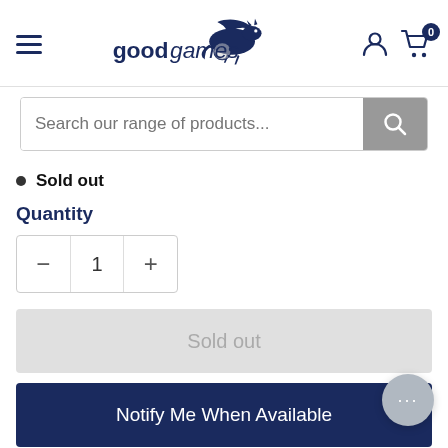[Figure (logo): Good Games logo with dragon and text 'goodgames']
Search our range of products...
Sold out
Quantity
− 1 +
Sold out
Notify Me When Available
Find in store